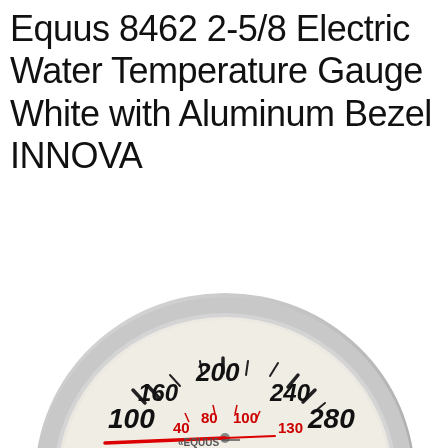Equus 8462 2-5/8 Electric Water Temperature Gauge White with Aluminum Bezel INNOVA
[Figure (photo): Photo of the Equus 8462 water temperature gauge with white face and aluminum bezel. The gauge dial shows temperature markings: 100, 160, 200, 240, 280 in black (outer scale) and 40, 80, 100, 130 in red (inner scale). A red needle points to around 100 (far left). The EQUUS logo appears at the bottom center of the dial.]